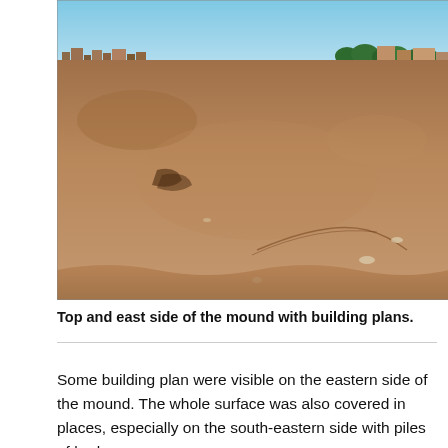[Figure (photo): Aerial/elevated view of a large flat archaeological mound with dry brown sandy surface, showing building plan outlines. In the background along the horizon there are buildings and trees under a blue sky.]
Top and east side of the mound with building plans.
Some building plan were visible on the eastern side of the mound. The whole surface was also covered in places, especially on the south-eastern side with piles of broken